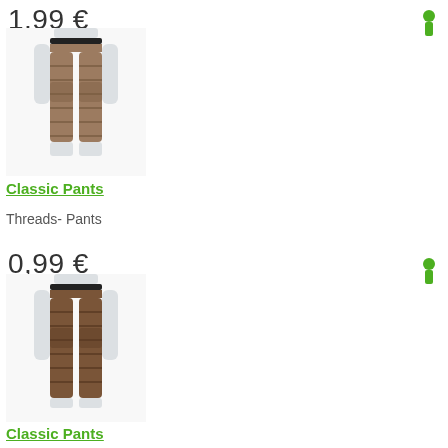1,99 €
[Figure (photo): Mannequin wearing brown/dark striped classic pants, 3D rendered product image on white background]
Classic Pants
Threads- Pants
0,99 €
[Figure (photo): Mannequin wearing brown/dark striped classic pants, 3D rendered product image on white background]
Classic Pants